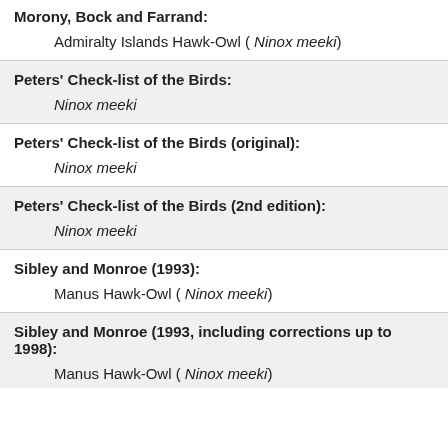Morony, Bock and Farrand:
Admiralty Islands Hawk-Owl ( Ninox meeki)
Peters' Check-list of the Birds:
Ninox meeki
Peters' Check-list of the Birds (original):
Ninox meeki
Peters' Check-list of the Birds (2nd edition):
Ninox meeki
Sibley and Monroe (1993):
Manus Hawk-Owl ( Ninox meeki)
Sibley and Monroe (1993, including corrections up to 1998):
Manus Hawk-Owl ( Ninox meeki)